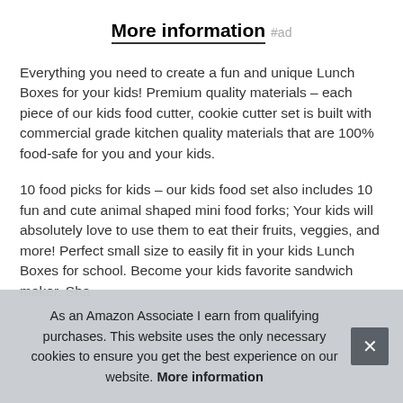More information #ad
Everything you need to create a fun and unique Lunch Boxes for your kids! Premium quality materials – each piece of our kids food cutter, cookie cutter set is built with commercial grade kitchen quality materials that are 100% food-safe for you and your kids.
10 food picks for kids – our kids food set also includes 10 fun and cute animal shaped mini food forks; Your kids will absolutely love to use them to eat their fruits, veggies, and more! Perfect small size to easily fit in your kids Lunch Boxes for school. Become your kids favorite sandwich maker. Sha[truncated]
As an Amazon Associate I earn from qualifying purchases. This website uses the only necessary cookies to ensure you get the best experience on our website. More information